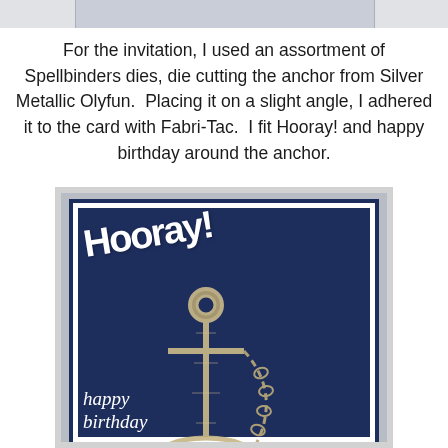[Figure (photo): Partial view of top image strip at top of page]
For the invitation, I used an assortment of Spellbinders dies, die cutting the anchor from Silver Metallic Olyfun.  Placing it on a slight angle, I adhered it to the card with Fabri-Tac.  I fit Hooray! and happy birthday around the anchor.
[Figure (photo): Photograph of a navy blue greeting card with white 'Hooray!' die-cut text and a silver metallic anchor with chain, and 'happy birthday' text at the bottom, placed on a gray background.]